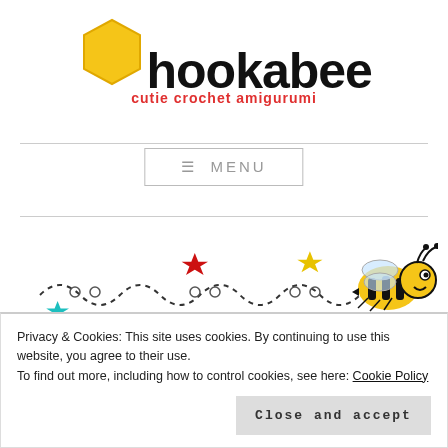[Figure (logo): Hookabee logo with yellow hexagon shape and text 'hookabee' in bold black, subtitle 'cutie crochet amigurumi' in red]
[Figure (illustration): Decorative banner with colorful stars (teal, red, yellow, blue) connected by dashed curly lines, with a cartoon bee on the right]
How to read amigurumi
Privacy & Cookies: This site uses cookies. By continuing to use this website, you agree to their use.
To find out more, including how to control cookies, see here: Cookie Policy
Close and accept